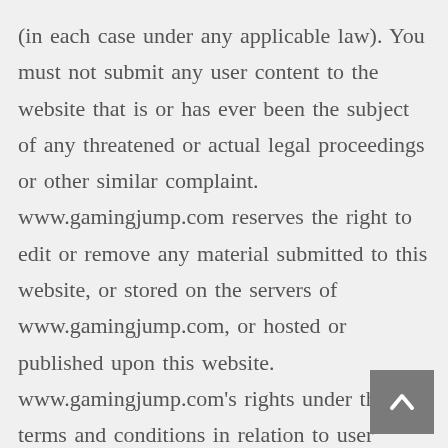(in each case under any applicable law). You must not submit any user content to the website that is or has ever been the subject of any threatened or actual legal proceedings or other similar complaint. www.gamingjump.com reserves the right to edit or remove any material submitted to this website, or stored on the servers of www.gamingjump.com, or hosted or published upon this website. www.gamingjump.com's rights under these terms and conditions in relation to user content, www.gamingjump.com does not undertake to monitor the